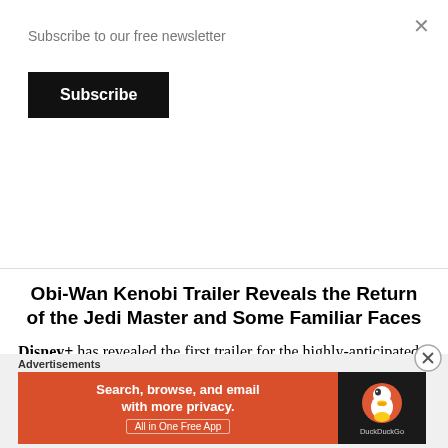Subscribe to our free newsletter
Subscribe
Obi-Wan Kenobi Trailer Reveals the Return of the Jedi Master and Some Familiar Faces
Disney+ has revealed the first trailer for the highly-anticipated Star Wars series Obi-Wan Kenobi. The series is set to premiere this May and will mark the 45th anniversary since the Jedi Master appeared on screen
Advertisements
[Figure (screenshot): DuckDuckGo advertisement banner: orange section on left reads 'Search, browse, and email with more privacy. All in One Free App', dark section on right shows DuckDuckGo logo]